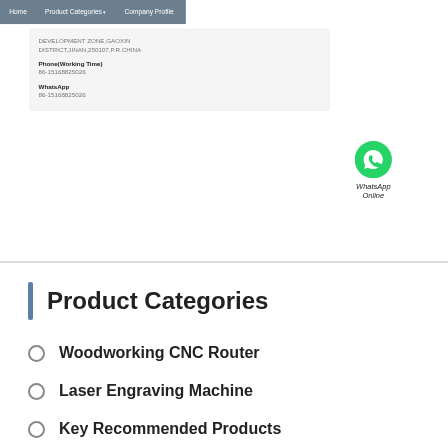Home | Product Categories | Company Profile
DEVELOPMENT ZONE,GAOXIN DISTRICT,JINAN,250107,P.R.CHINA
Phone(Working Time)
86-15168825026
WhatsApp
86-15168825026
[Figure (logo): WhatsApp green circle icon with phone handset, labeled WhatsApp Online]
Product Categories
Woodworking CNC Router
Laser Engraving Machine
Key Recommended Products
Customized Series